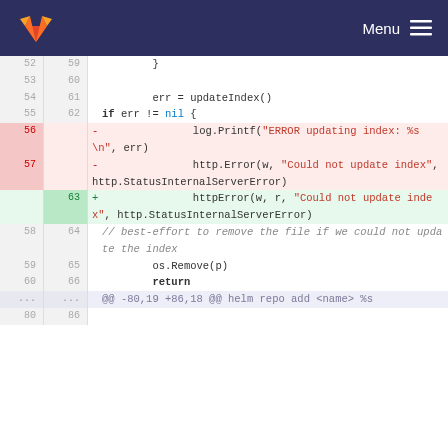GitLab logo | Menu
[Figure (screenshot): Code diff view showing Go source code lines 52-86 with deletions (pink) and additions (green). Lines 56-57 removed log.Printf and http.Error calls, line 63 added httpError call. Lines 58-60/64-66 show comment and os.Remove/return. Bottom shows diff hunk header @@ -80,19 +86,18 @@ helm repo add <name> %s]
@@ -80,19 +86,18 @@ helm repo add <name> %s